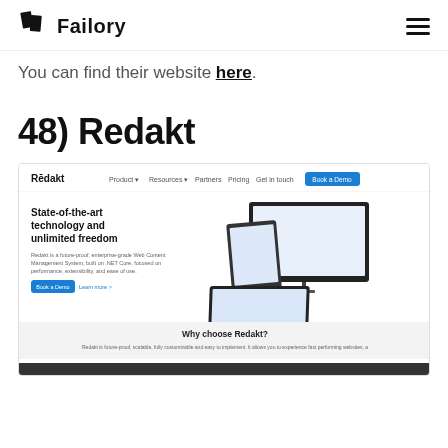Failory
You can find their website here.
48) Redakt
[Figure (screenshot): Screenshot of the Redakt website homepage showing the Redakt logo and navigation bar with links: Product, Resources, Partners, Pricing, Get in touch, and a blue 'Book a Demo' button. Below is a hero section with the heading 'State-of-the-art technology and unlimited freedom', a description 'Redakt is a future-proof, enterprise-grade Web Content Management System, built on .NET Core, focused on performance, extensibility, and ease of use.', a blue 'Book a Demo' button, a 'Learn more' link, and an image of multiple devices (desktop, tablet, laptop) displaying the Redakt interface. Below the hero is a gray section with the heading 'Why choose Redakt?' and introductory text.]
Why choose Redakt?
Redakt is future-proof, scalable, fully customizable and easy to implement. It allows you to experience fast performing websites, a